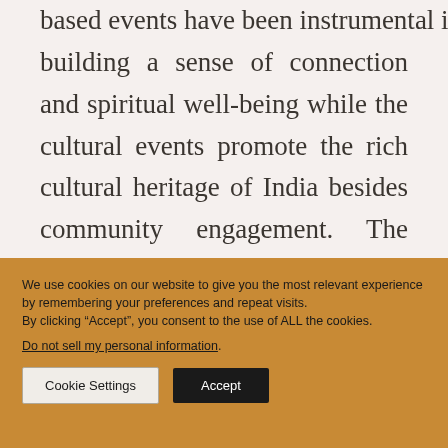based events have been instrumental in building a sense of connection and spiritual well-being while the cultural events promote the rich cultural heritage of India besides community engagement. The society has also strived to foster community spirit and fulfill it's responsibilities to the wider community
We use cookies on our website to give you the most relevant experience by remembering your preferences and repeat visits.
By clicking “Accept”, you consent to the use of ALL the cookies.
Do not sell my personal information.